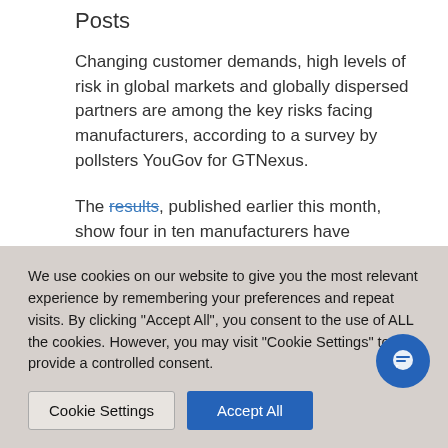Posts
Changing customer demands, high levels of risk in global markets and globally dispersed partners are among the key risks facing manufacturers, according to a survey by pollsters YouGov for GTNexus.
The results, published earlier this month, show four in ten manufacturers have experienced a supply chain
We use cookies on our website to give you the most relevant experience by remembering your preferences and repeat visits. By clicking "Accept All", you consent to the use of ALL the cookies. However, you may visit "Cookie Settings" to provide a controlled consent.